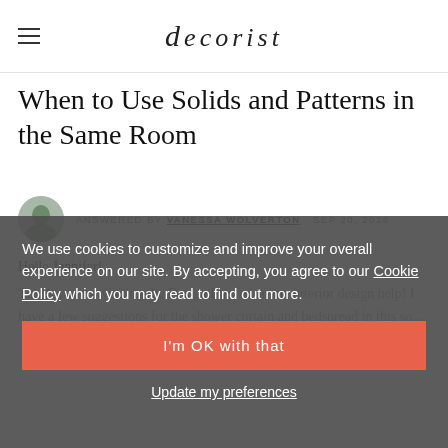decorist
When to Use Solids and Patterns in the Same Room
ANSWERED BY VANESSA WOLVERTON · SEP 20, 2018
Hello Jennifer!
Thank you for visiting the Design Bar for online interior design help! I have a few suggestions for the shower curtain and bedspread in this so...
We use cookies to customize and improve your overall experience on our site. By accepting, you agree to our Cookie Policy which you may read to find out more.
I'm OK with that
Update my preferences